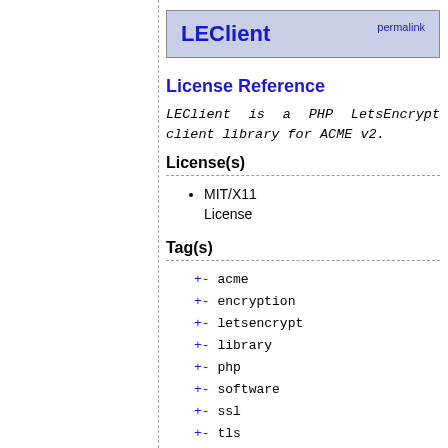LEClient permalink
License Reference
LEClient is a PHP LetsEncrypt client library for ACME v2.
License(s)
MIT/X11 License
Tag(s)
+ - acme
+ - encryption
+ - letsencrypt
+ - library
+ - php
+ - software
+ - ssl
+ - tls